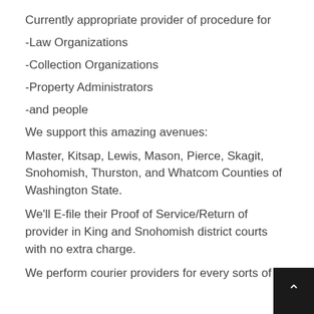Currently appropriate provider of procedure for
-Law Organizations
-Collection Organizations
-Property Administrators
-and people
We support this amazing avenues:
Master, Kitsap, Lewis, Mason, Pierce, Skagit, Snohomish, Thurston, and Whatcom Counties of Washington State.
We'll E-file their Proof of Service/Return of provider in King and Snohomish district courts with no extra charge.
We perform courier providers for every sorts of